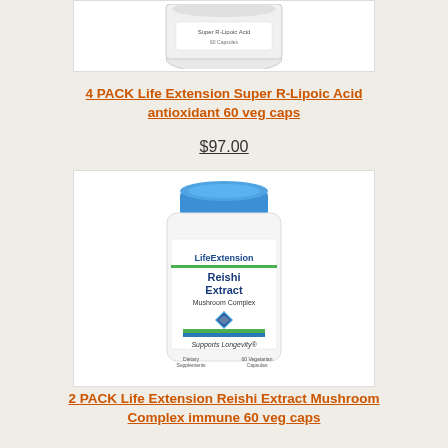[Figure (photo): Partial top view of a white supplement bottle with white cap, cropped at top of page]
4 PACK Life Extension Super R-Lipoic Acid antioxidant 60 veg caps
$97.00
[Figure (photo): Life Extension Reishi Extract Mushroom Complex supplement bottle with blue cap, white bottle with green and blue label design, 60 vegetarian capsules, Supports Longevity]
2 PACK Life Extension Reishi Extract Mushroom Complex immune 60 veg caps